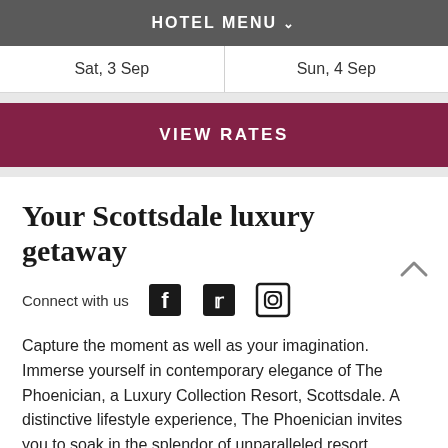HOTEL MENU
| Sat, 3 Sep | Sun, 4 Sep |
| --- | --- |
VIEW RATES
Your Scottsdale luxury getaway
Connect with us [Facebook] [Twitter] [Instagram]
Capture the moment as well as your imagination. Immerse yourself in contemporary elegance of The Phoenician, a Luxury Collection Resort, Scottsdale. A distinctive lifestyle experience, The Phoenician invites you to soak in the splendor of unparalleled resort amenities, from our our